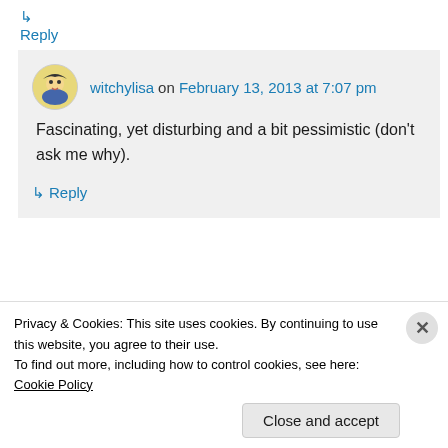↳ Reply
witchylisa on February 13, 2013 at 7:07 pm
Fascinating, yet disturbing and a bit pessimistic (don't ask me why).
↳ Reply
another1ofthose on February 13, 2013
Privacy & Cookies: This site uses cookies. By continuing to use this website, you agree to their use.
To find out more, including how to control cookies, see here: Cookie Policy
Close and accept